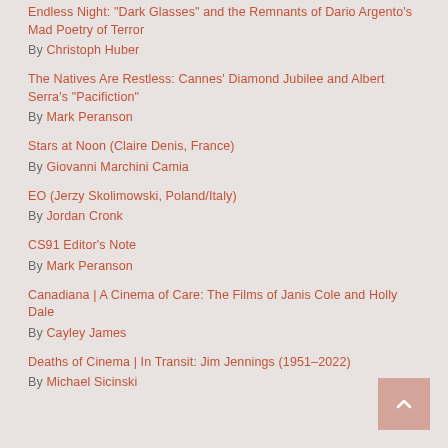Endless Night: “Dark Glasses” and the Remnants of Dario Argento’s Mad Poetry of Terror
By Christoph Huber
The Natives Are Restless: Cannes’ Diamond Jubilee and Albert Serra’s “Pacifiction”
By Mark Peranson
Stars at Noon (Claire Denis, France)
By Giovanni Marchini Camia
EO (Jerzy Skolimowski, Poland/Italy)
By Jordan Cronk
CS91 Editor’s Note
By Mark Peranson
Canadiana | A Cinema of Care: The Films of Janis Cole and Holly Dale
By Cayley James
Deaths of Cinema | In Transit: Jim Jennings (1951–2022)
By Michael Sicinski